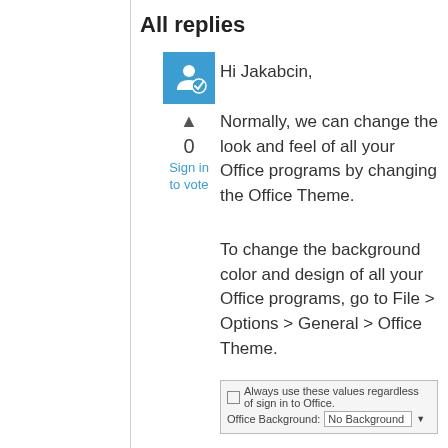All replies
[Figure (logo): Blue square icon with a white silhouette of a person and a checkmark, representing a Microsoft community/answers user badge]
0
Sign in to vote
Hi Jakabcin,
Normally, we can change the look and feel of all your Office programs by changing the Office Theme.
To change the background color and design of all your Office programs, go to File > Options > General > Office Theme.
[Figure (screenshot): Screenshot of an Office Options dialog section showing 'Always use these values regardless of sign in to Office.' checkbox and 'Office Background: No Background' dropdown field]